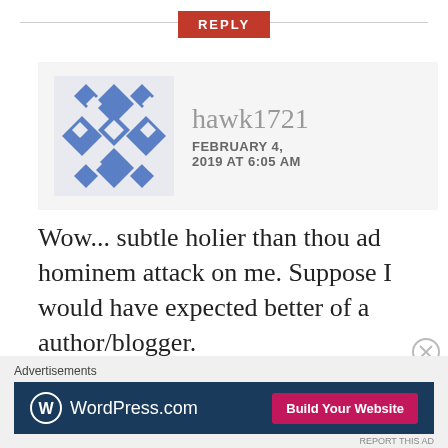REPLY
[Figure (illustration): User avatar — blue geometric diamond/star pattern mosaic tile design for user hawk1721]
hawk1721
FEBRUARY 4, 2019 AT 6:05 AM
Wow... subtle holier than thou ad hominem attack on me. Suppose I would have expected better of a author/blogger.
Advertisements
[Figure (screenshot): WordPress.com advertisement banner with logo and 'Build Your Website' button]